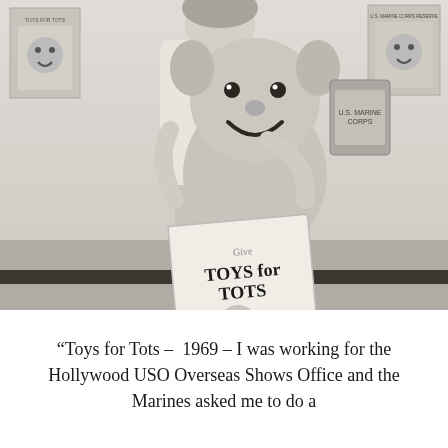[Figure (photo): Black and white photograph of a woman posing next to a large stuffed animal/mascot character (resembling a bear or similar character with a smiley face). The mascot is holding a 'Give Toys for Tots' poster showing U.S. Marine Corps imagery. In the background there are Toys for Tots promotional posters on the wall. Caption at bottom of photo reads 'U.S. Marine Corps Reserves' or similar.]
“Toys for Tots –  1969 – I was working for the Hollywood USO Overseas Shows Office and the Marines asked me to do a